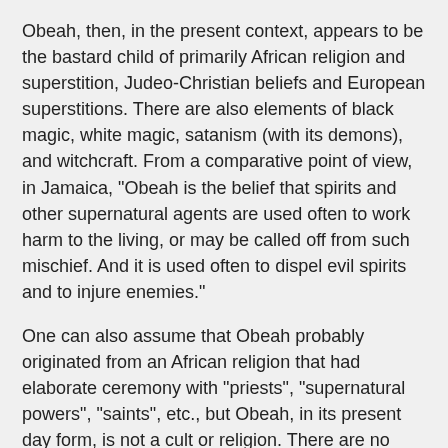Obeah, then, in the present context, appears to be the bastard child of primarily African religion and superstition, Judeo-Christian beliefs and European superstitions. There are also elements of black magic, white magic, satanism (with its demons), and witchcraft. From a comparative point of view, in Jamaica, "Obeah is the belief that spirits and other supernatural agents are used often to work harm to the living, or may be called off from such mischief. And it is used often to dispel evil spirits and to injure enemies."
One can also assume that Obeah probably originated from an African religion that had elaborate ceremony with "priests", "supernatural powers", "saints", etc., but Obeah, in its present day form, is not a cult or religion. There are no priests, collective rituals, gods or saints. It does not resemble the type of ceremony that is found in Voodoo (in Haiti), Shango (in Cuba and Trinidad), or other types of African religion that can still be found in parts of South America with